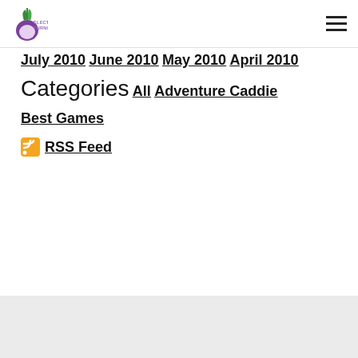Electric Turnip logo and navigation header
July 2010
June 2010
May 2010
April 2010
Categories
All
Adventure Caddie
Best Games
RSS Feed